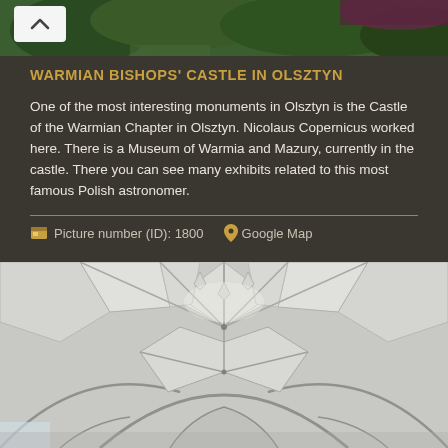[Figure (photo): Aerial/top photo showing trees and landscape, partially visible at top of page]
WARMIAN BISHOPS' CASTLE IN OLSZTYN
One of the most interesting monuments in Olsztyn is the Castle of the Warmian Chapter in Olsztyn. Nicolaus Copernicus worked here. There is a Museum of Warmia and Mazury, currently in the castle. There you can see many exhibits related to this most famous Polish astronomer.
Picture number (ID): 1800   Google Map
[Figure (photo): Interior photo of a Gothic castle ceiling with elaborate white ribbed vaulting and pointed arches]